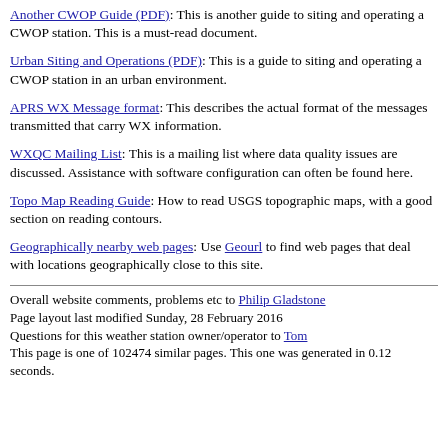Another CWOP Guide (PDF): This is another guide to siting and operating a CWOP station. This is a must-read document.
Urban Siting and Operations (PDF): This is a guide to siting and operating a CWOP station in an urban environment.
APRS WX Message format: This describes the actual format of the messages transmitted that carry WX information.
WXQC Mailing List: This is a mailing list where data quality issues are discussed. Assistance with software configuration can often be found here.
Topo Map Reading Guide: How to read USGS topographic maps, with a good section on reading contours.
Geographically nearby web pages: Use Geourl to find web pages that deal with locations geographically close to this site.
Overall website comments, problems etc to Philip Gladstone
Page layout last modified Sunday, 28 February 2016
Questions for this weather station owner/operator to Tom
This page is one of 102474 similar pages. This one was generated in 0.12 seconds.